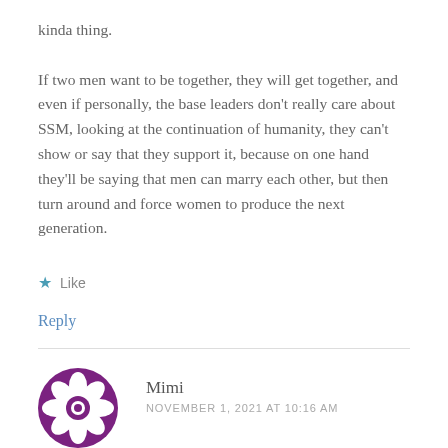kinda thing.
If two men want to be together, they will get together, and even if personally, the base leaders don't really care about SSM, looking at the continuation of humanity, they can't show or say that they support it, because on one hand they'll be saying that men can marry each other, but then turn around and force women to produce the next generation.
Like
Reply
Mimi
NOVEMBER 1, 2021 AT 10:16 AM